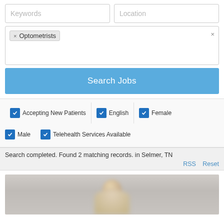Keywords
Location
× Optometrists
Search Jobs
✓ Accepting New Patients
✓ English
✓ Female
✓ Male
✓ Telehealth Services Available
Search completed. Found 2 matching records. in Selmer, TN
RSS   Reset
[Figure (photo): Blurred photo of a person (likely a medical professional), appearing as a partially visible face/head against a light gray background]